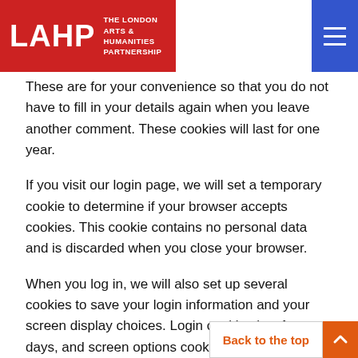LAHP The London Arts & Humanities Partnership
These are for your convenience so that you do not have to fill in your details again when you leave another comment. These cookies will last for one year.
If you visit our login page, we will set a temporary cookie to determine if your browser accepts cookies. This cookie contains no personal data and is discarded when you close your browser.
When you log in, we will also set up several cookies to save your login information and your screen display choices. Login cookies last for two days, and screen options cookies last for a year. If you select “Remember Me”, your login will persist for two weeks. If you log out of your account, the login cookies will be rem…